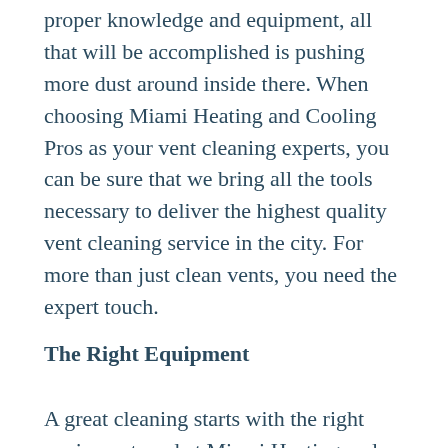proper knowledge and equipment, all that will be accomplished is pushing more dust around inside there. When choosing Miami Heating and Cooling Pros as your vent cleaning experts, you can be sure that we bring all the tools necessary to deliver the highest quality vent cleaning service in the city. For more than just clean vents, you need the expert touch.
The Right Equipment
A great cleaning starts with the right equipment, and at Miami Heating and Cooling Pros we use only the best to ensure that we can deliver the most thorough and dependable of cleaning services, our experts bring you the experience and expertise needed to wield such pieces of machinery in order to bring you a full clean that will show noticeable results. When choosing Miami Heating and Cooling Pros as your vent cleaning